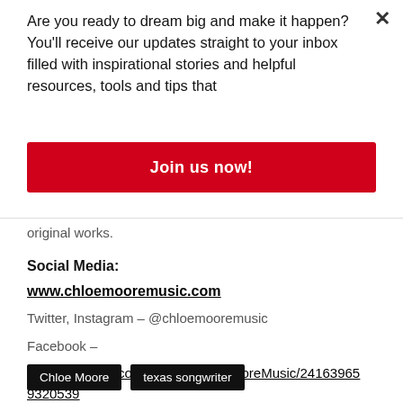Are you ready to dream big and make it happen? You'll receive our updates straight to your inbox filled with inspirational stories and helpful resources, tools and tips that
Join us now!
original works.
Social Media:
www.chloemooremusic.com
Twitter, Instagram – @chloemooremusic
Facebook –
www.facebook.com/pages/ChloeMooreMusic/241639659320539
Chloe Moore
texas songwriter